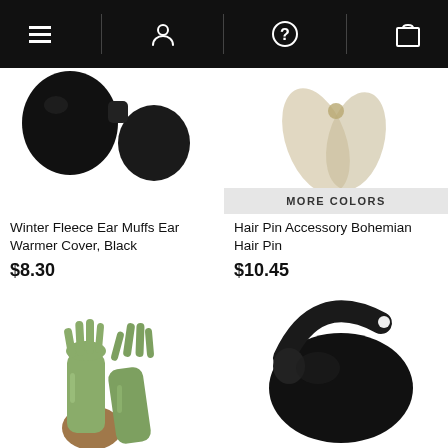Navigation bar with menu, user, help, and cart icons
[Figure (photo): Black winter fleece ear muffs/ear warmer cover product photo on white background, partially cropped at top]
Winter Fleece Ear Muffs Ear Warmer Cover, Black
$8.30
MORE COLORS
[Figure (photo): Hair Pin Accessory Bohemian Hair Pin product photo on white background, partially cropped at top]
Hair Pin Accessory Bohemian Hair Pin
$10.45
[Figure (photo): Sage green long satin gloves product photo on white background]
[Figure (photo): Black fleece ear muffs/ear warmer product photo on white background]